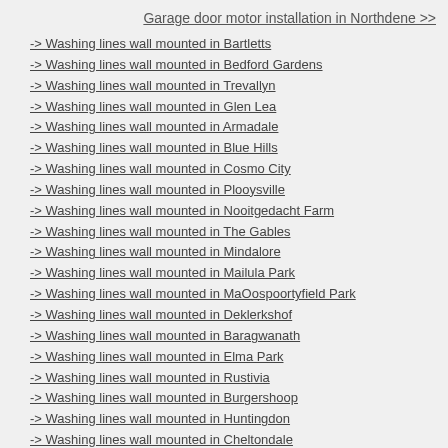Garage door motor installation in Northdene >>
-> Washing lines wall mounted in Bartletts
-> Washing lines wall mounted in Bedford Gardens
-> Washing lines wall mounted in Trevallyn
-> Washing lines wall mounted in Glen Lea
-> Washing lines wall mounted in Armadale
-> Washing lines wall mounted in Blue Hills
-> Washing lines wall mounted in Cosmo City
-> Washing lines wall mounted in Plooysville
-> Washing lines wall mounted in Nooitgedacht Farm
-> Washing lines wall mounted in The Gables
-> Washing lines wall mounted in Mindalore
-> Washing lines wall mounted in Mailula Park
-> Washing lines wall mounted in MaOospoortyfield Park
-> Washing lines wall mounted in Deklerkshof
-> Washing lines wall mounted in Baragwanath
-> Washing lines wall mounted in Elma Park
-> Washing lines wall mounted in Rustivia
-> Washing lines wall mounted in Burgershoop
-> Washing lines wall mounted in Huntingdon
-> Washing lines wall mounted in Cheltondale
-> Washing lines wall mounted in Norscot
-> Washing lines wall mounted in Eagle Canyon Golf Estate
-> Washing lines wall mounted in Primrose Hill
-> Washing lines wall mounted in Little Fillian